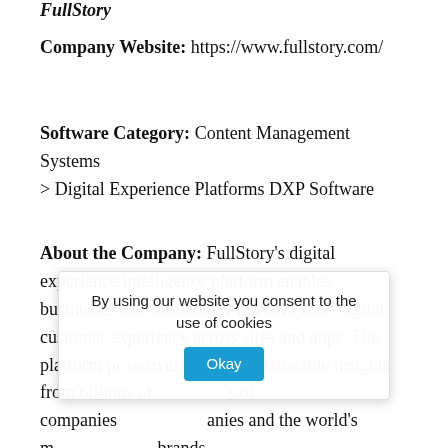FullStory
Company Website: https://www.fullstory.com/
Software Category: Content Management Systems > Digital Experience Platforms DXP Software
About the Company: FullStory's digital experience intelligence platform enables businesses to continuously improve their digital customer experience across sites and apps. The platform proactively surfaces actionable insights from billions of [obscured] 's of companies [obscured] anies and the world's m[obscured] brands,
By using our website you consent to the use of cookies  Okay